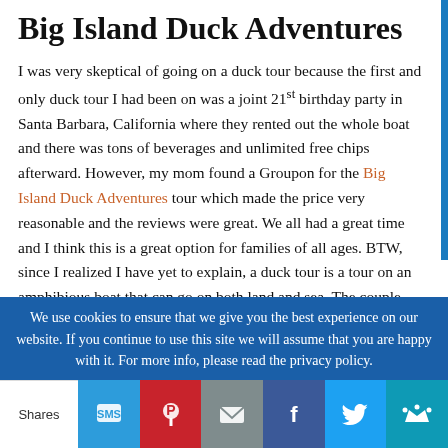Big Island Duck Adventures
I was very skeptical of going on a duck tour because the first and only duck tour I had been on was a joint 21st birthday party in Santa Barbara, California where they rented out the whole boat and there was tons of beverages and unlimited free chips afterward. However, my mom found a Groupon for the Big Island Duck Adventures tour which made the price very reasonable and the reviews were great. We all had a great time and I think this is a great option for families of all ages. BTW, since I realized I have yet to explain, a duck tour is a tour on an amphibious boat that can go on both land and sea. The couple that started the tour moved from Washington D.C. because of their love
We use cookies to ensure that we give you the best experience on our website. If you continue to use this site we will assume that you are happy with it. For more info, please read the privacy policy.
Shares